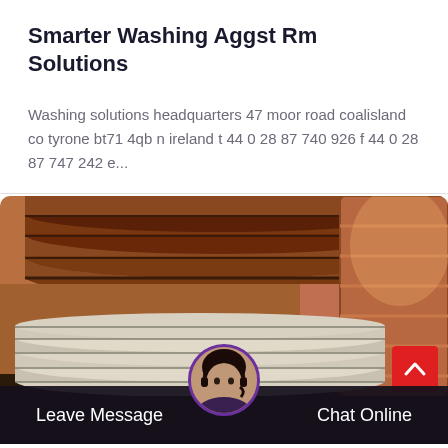Smarter Washing Aggst Rm Solutions
Washing solutions headquarters 47 moor road coalisland co tyrone bt71 4qb n ireland t 44 0 28 87 740 926 f 44 0 28 87 747 242 e...
[Figure (photo): Photo of stacked industrial metal discs/plates in a warehouse setting, showing worn brownish-orange discs stacked on top, and lighter grey/silver plates stacked in the foreground. Background shows brick wall.]
Leave Message
Chat Online